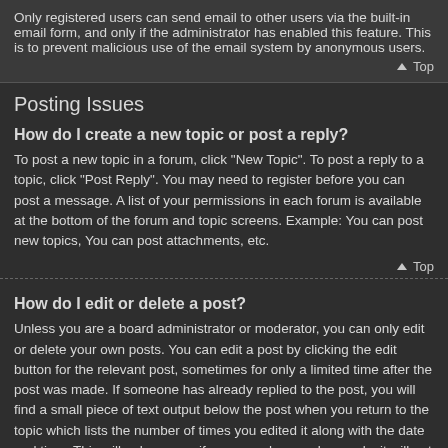Only registered users can send email to other users via the built-in email form, and only if the administrator has enabled this feature. This is to prevent malicious use of the email system by anonymous users.
⬆ Top
Posting Issues
How do I create a new topic or post a reply?
To post a new topic in a forum, click "New Topic". To post a reply to a topic, click "Post Reply". You may need to register before you can post a message. A list of your permissions in each forum is available at the bottom of the forum and topic screens. Example: You can post new topics, You can post attachments, etc.
⬆ Top
How do I edit or delete a post?
Unless you are a board administrator or moderator, you can only edit or delete your own posts. You can edit a post by clicking the edit button for the relevant post, sometimes for only a limited time after the post was made. If someone has already replied to the post, you will find a small piece of text output below the post when you return to the topic which lists the number of times you edited it along with the date and time. This will only appear if someone has made a reply; it will not appear if a moderator